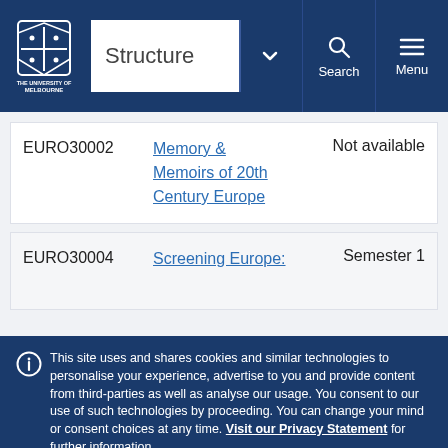[Figure (screenshot): University of Melbourne logo in white on dark blue header]
Structure
| Code | Title | Availability |
| --- | --- | --- |
| EURO30002 | Memory & Memoirs of 20th Century Europe | Not available |
| EURO30004 | Screening Europe: | Semester 1 |
This site uses and shares cookies and similar technologies to personalise your experience, advertise to you and provide content from third-parties as well as analyse our usage. You consent to our use of such technologies by proceeding. You can change your mind or consent choices at any time. Visit our Privacy Statement for further information.
Accept cookies
Cookie Preferences